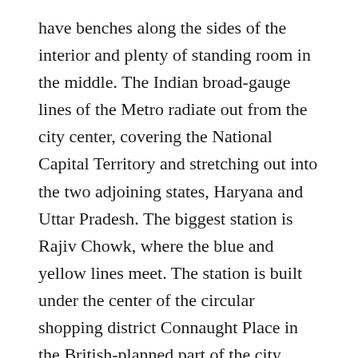have benches along the sides of the interior and plenty of standing room in the middle. The Indian broad-gauge lines of the Metro radiate out from the city center, covering the National Capital Territory and stretching out into the two adjoining states, Haryana and Uttar Pradesh. The biggest station is Rajiv Chowk, where the blue and yellow lines meet. The station is built under the center of the circular shopping district Connaught Place in the British-planned part of the city. Whenever I have been to Rajiv Chowk, it has always been busy, with long queues waiting on the platforms for the two lines.
The Delhi Metro Rail Corporation has had to socialize the population of Delhi to use the Metro, because